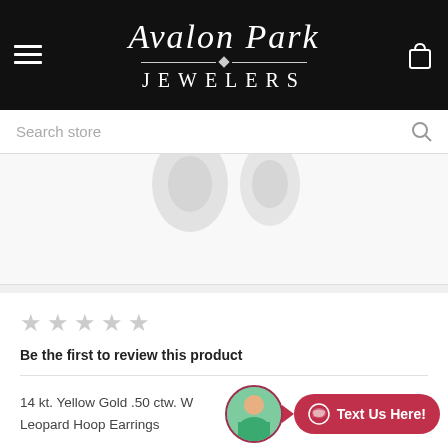Avalon Park Jewelers
Search store
[Figure (photo): Partial product image showing earrings on a white background]
☆☆☆☆☆
Be the first to review this product
14 kt. Yellow Gold .50 ctw. W Leopard Hoop Earrings
[Figure (other): Chat widget with avatar and Text Us Here! button]